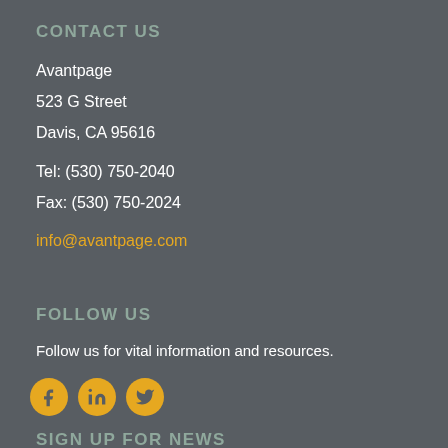CONTACT US
Avantpage
523 G Street
Davis, CA 95616
Tel: (530) 750-2040
Fax: (530) 750-2024
info@avantpage.com
FOLLOW US
Follow us for vital information and resources.
[Figure (illustration): Three circular yellow social media icons: Facebook (f), LinkedIn (in), Twitter (bird)]
SIGN UP FOR NEWS